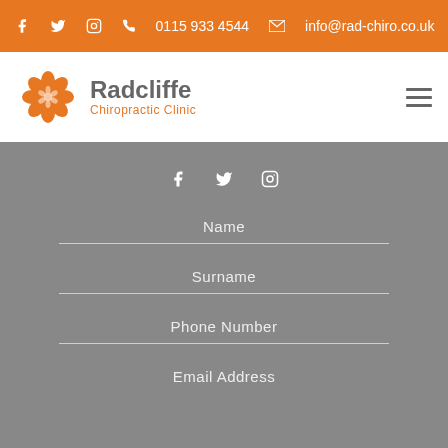0115 933 4544  info@rad-chiro.co.uk
[Figure (logo): Radcliffe Chiropractic Clinic logo with orange flower icon and gray/orange text]
Name
Surname
Phone Number
Email Address